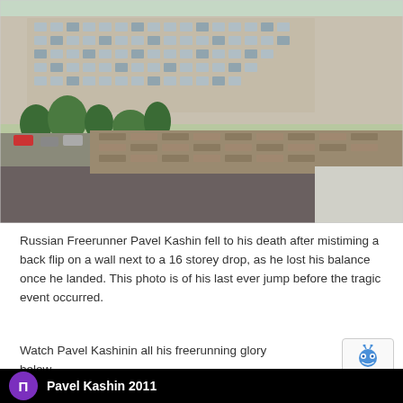[Figure (photo): A shirtless freerunner (Pavel Kashin) performing a back flip on the edge of a rooftop wall, high above the city with a large Soviet-era apartment block visible in the background below. The photo is taken from a high vantage point showing a parking lot and green trees in the distance.]
Russian Freerunner Pavel Kashin fell to his death after mistiming a back flip on a wall next to a 16 storey drop, as he lost his balance once he landed. This photo is of his last ever jump before the tragic event occurred.
Watch Pavel Kashinin all his freerunning glory below...
[Figure (screenshot): reCAPTCHA widget logo (blue robot icon) in a small box]
Pavel Kashin 2011